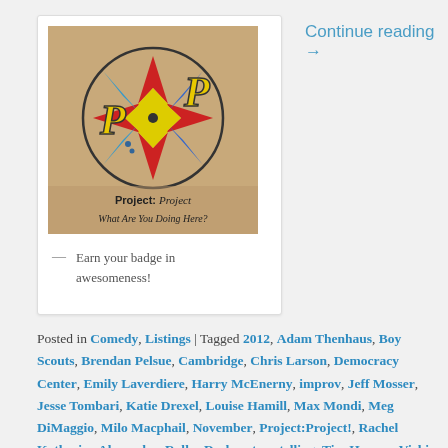[Figure (illustration): Badge illustration: a compass rose star with red, blue, yellow triangles inside a circle, with decorative letters P on each side. Below the compass: text reading 'Project: Project What Are You Doing Here?' on a tan/kraft paper background.]
— Earn your badge in awesomeness!
Continue reading →
Posted in Comedy, Listings | Tagged 2012, Adam Thenhaus, Boy Scouts, Brendan Pelsue, Cambridge, Chris Larson, Democracy Center, Emily Laverdiere, Harry McEnerny, improv, Jeff Mosser, Jesse Tombari, Katie Drexel, Louise Hamill, Max Mondi, Meg DiMaggio, Milo Macphail, November, Project:Project!, Rachel Katherine Alexander, Roller Derby, story telling, Tim Hoover, Vicki Schairer, WHAT ARE YOU DOING HERE?